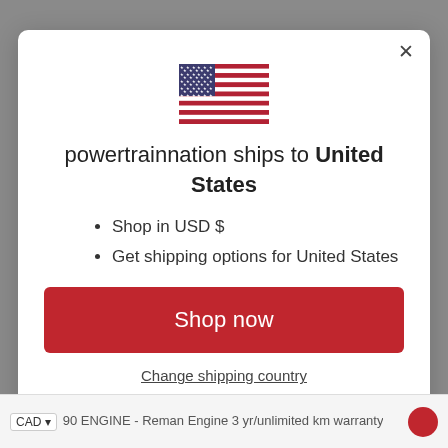[Figure (illustration): US flag emoji/icon centered at top of modal dialog]
powertrainnation ships to United States
Shop in USD $
Get shipping options for United States
Shop now
Change shipping country
CAD  90 ENGINE - Reman Engine 3 yr/unlimited km warranty